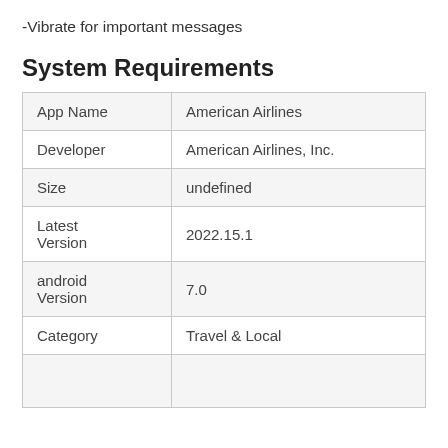-Vibrate for important messages
System Requirements
|  |  |
| --- | --- |
| App Name | American Airlines |
| Developer | American Airlines, Inc. |
| Size | undefined |
| Latest Version | 2022.15.1 |
| android Version | 7.0 |
| Category | Travel & Local |